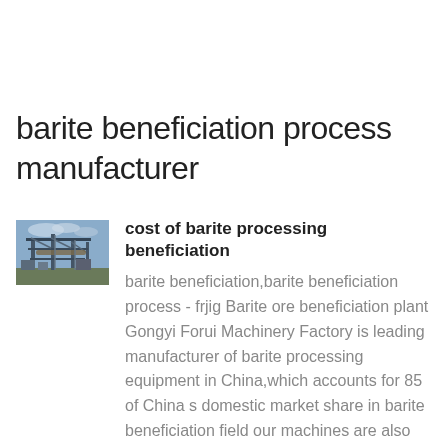barite beneficiation process manufacturer
[Figure (photo): Industrial machinery or processing plant equipment, barite beneficiation plant]
cost of barite processing beneficiation
barite beneficiation,barite beneficiation process - frjig Barite ore beneficiation plant Gongyi Forui Machinery Factory is leading manufacturer of barite processing equipment in China,which accounts for 85 of China s domestic market share in barite beneficiation field our machines are also delivered to